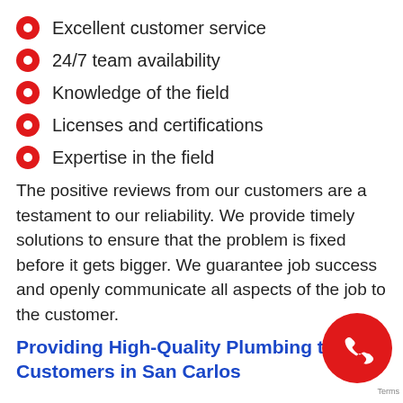Excellent customer service
24/7 team availability
Knowledge of the field
Licenses and certifications
Expertise in the field
The positive reviews from our customers are a testament to our reliability. We provide timely solutions to ensure that the problem is fixed before it gets bigger. We guarantee job success and openly communicate all aspects of the job to the customer.
Providing High-Quality Plumbing to Customers in San Carlos